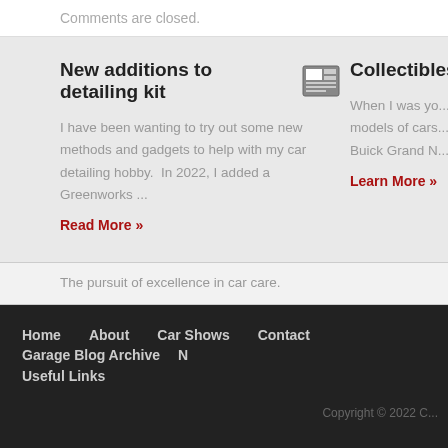Comments are closed.
New additions to detailing kit
I have been wanting to try out some new methods and gadgets to help with my car detailing hobby.  In 2022, I added a Greenworks ...
Read More »
Collectibles
When I was yo... models of cars... Buick Grand N...
Learn More »
The pursuit of excellence in car care.
Home   About   Car Shows   Contact   Garage Blog Archive   N   Useful Links
Copyright © 2022 C...